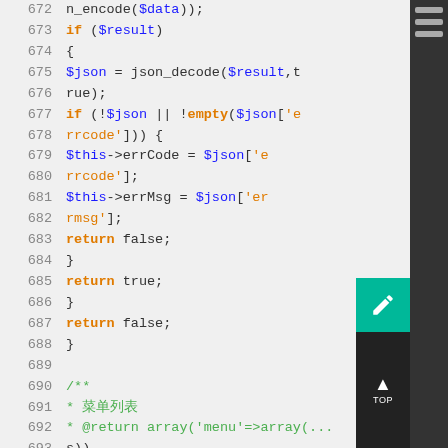[Figure (screenshot): PHP source code editor view showing lines 672-693. Code includes JSON decode, error handling with $json, $this->errCode, $this->errMsg, return false/true, and a PHPDoc comment block starting at line 690.]